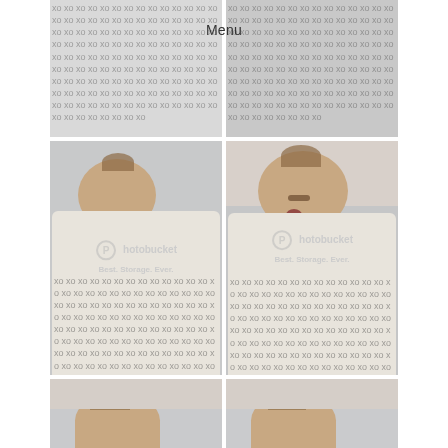Menu
[Figure (photo): Top-left photo showing close-up of white swaddle blanket with black XO pattern]
[Figure (photo): Top-right photo showing close-up of white swaddle blanket with black XO pattern]
[Figure (photo): Middle-left photo of newborn baby lying on back, eyes partially open, wrapped in white XO-patterned swaddle blanket, Photobucket watermark visible]
[Figure (photo): Middle-right photo of newborn baby lying on back, mouth open in yawn, wrapped in white XO-patterned swaddle blanket, Photobucket watermark visible]
[Figure (photo): Bottom-left photo partially visible, showing top of newborn baby's head]
[Figure (photo): Bottom-right photo partially visible, showing top of newborn baby's head]